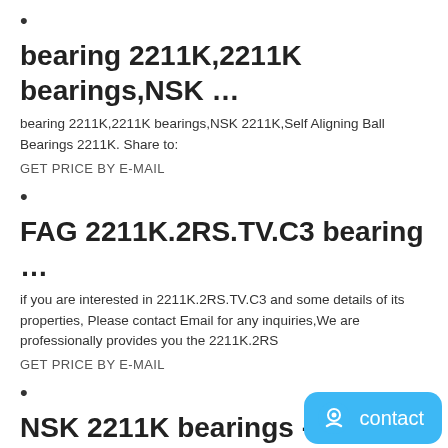•
bearing 2211K,2211K bearings,NSK ...
bearing 2211K,2211K bearings,NSK 2211K,Self Aligning Ball Bearings 2211K. Share to:
GET PRICE BY E-MAIL
•
FAG 2211K.2RS.TV.C3 bearing ...
if you are interested in 2211K.2RS.TV.C3 and some details of its properties, Please contact Email for any inquiries,We are professionally provides you the 2211K.2RS
GET PRICE BY E-MAIL
•
NSK 2211K bearings - NSK...